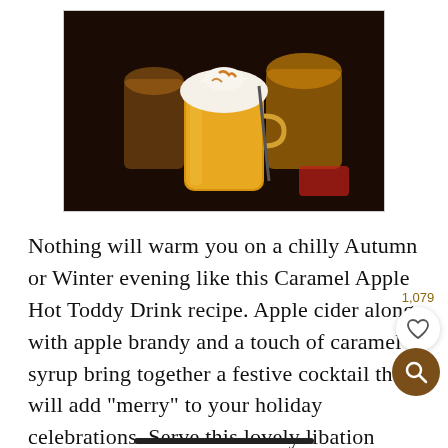[Figure (photo): A hot toddy drink in a glass mug topped with whipped cream and caramel drizzle, with more drinks in the background]
Nothing will warm you on a chilly Autumn or Winter evening like this Caramel Apple Hot Toddy Drink recipe. Apple cider along with apple brandy and a touch of caramel syrup bring together a festive cocktail that will add "merry" to your holiday celebrations. Serve this lovely libation with homemade whipped cream and a drizzle…